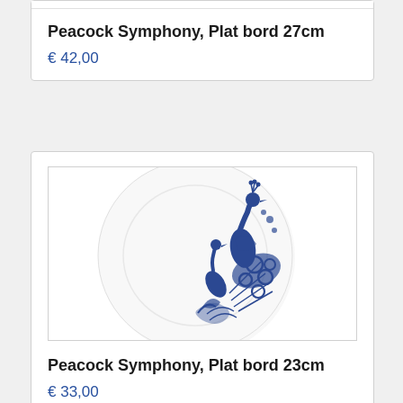Peacock Symphony, Plat bord 27cm
€ 42,00
[Figure (photo): A white ceramic plate with blue Delft-style peacock and bird illustration on the right side, viewed from above.]
Peacock Symphony, Plat bord 23cm
€ 33,00